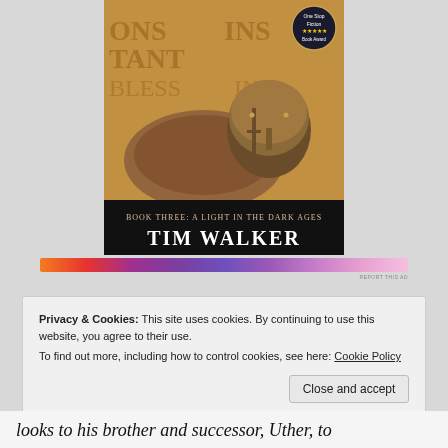[Figure (illustration): Book cover for 'Book Three: A Light in the Dark Ages' by Tim Walker, showing a medieval helmet with fur and weaponry on a stone/carved background, with a 'One Stop Fiction Book Award' badge in the top right corner.]
[Figure (other): Decorative advertisement banner with colorful gradient pattern from orange to purple with ornamental designs.]
Privacy & Cookies: This site uses cookies. By continuing to use this website, you agree to their use.
To find out more, including how to control cookies, see here: Cookie Policy
Close and accept
looks to his brother and successor, Uther, to